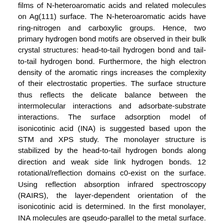films of N-heteroaromatic acids and related molecules on Ag(111) surface. The N-heteroaromatic acids have ring-nitrogen and carboxylic groups. Hence, two primary hydrogen bond motifs are observed in their bulk crystal structures: head-to-tail hydrogen bond and tail-to-tail hydrogen bond. Furthermore, the high electron density of the aromatic rings increases the complexity of their electrostatic properties. The surface structure thus reflects the delicate balance between the intermolecular interactions and adsorbate-substrate interactions. The surface adsorption model of isonicotinic acid (INA) is suggested based upon the STM and XPS study. The monolayer structure is stabilized by the head-to-tail hydrogen bonds along direction and weak side link hydrogen bonds. 12 rotational/reflection domains c0-exist on the surface. Using reflection absorption infrared spectroscopy (RAIRS), the layer-dependent orientation of the isonicotinic acid is determined. In the first monolayer, INA molecules are qseudo-parallel to the metal surface. The second and third layers possesses a combined twist ( ~ 20°) and tilt ( ~ 10°) orientation. This incline angle is contributed to the slight distortion ( 0.2%) along side link hydrogen bond direction upon the registration to the substrate. With two additional aromatic rings, 9-acridine carboxylic acid (ACA) possesses a greater quadrupole. The surface structure is thus affected. The main interaction is still head-to-tail hydrogen bonding